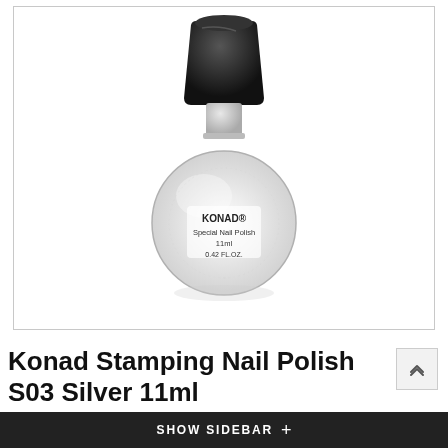[Figure (photo): A Konad Special Nail Polish bottle in silver/clear color with a black cap. The round glass bottle is labeled 'KONAD® Special Nail Polish 11ml 0.42 FL.OZ.' on a white background with a light gray border.]
Konad Stamping Nail Polish S03 Silver 11ml
SHOW SIDEBAR +